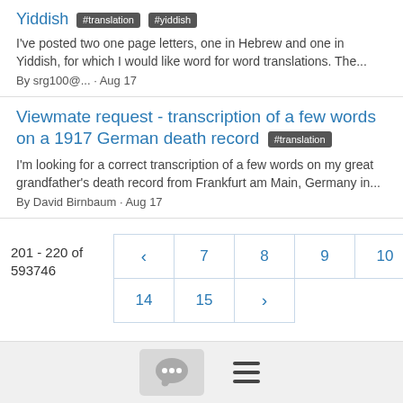Yiddish #translation #yiddish
I've posted two one page letters, one in Hebrew and one in Yiddish, for which I would like word for word translations. The...
By srg100@... · Aug 17
Viewmate request - transcription of a few words on a 1917 German death record #translation
I'm looking for a correct transcription of a few words on my great grandfather's death record from Frankfurt am Main, Germany in...
By David Birnbaum · Aug 17
201 - 220 of 593746
< 7 8 9 10 11 12 13 14 15 >